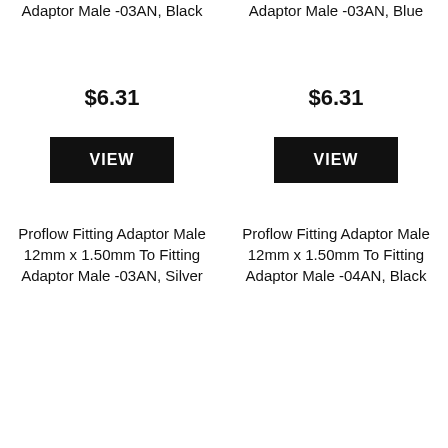Adaptor Male -03AN, Black
Adaptor Male -03AN, Blue
$6.31
$6.31
VIEW
VIEW
Proflow Fitting Adaptor Male 12mm x 1.50mm To Fitting Adaptor Male -03AN, Silver
Proflow Fitting Adaptor Male 12mm x 1.50mm To Fitting Adaptor Male -04AN, Black